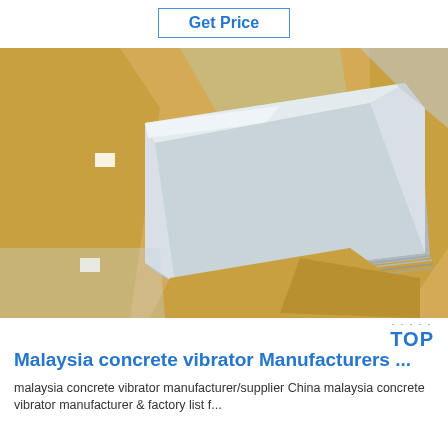Get Price
[Figure (photo): Stacked metallic/aluminum sheets wrapped in yellow protective paper packaging, viewed from above at an angle, industrial setting]
Malaysia concrete vibrator Manufacturers ...
malaysia concrete vibrator manufacturer/supplier China malaysia concrete vibrator manufacturer & factory list f...